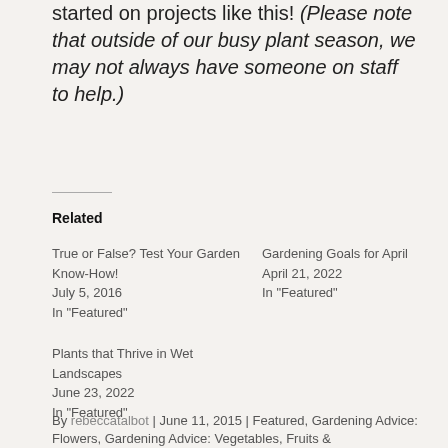started on projects like this! (Please note that outside of our busy plant season, we may not always have someone on staff to help.)
Related
True or False? Test Your Garden Know-How!
July 5, 2016
In "Featured"
Gardening Goals for April
April 21, 2022
In "Featured"
Plants that Thrive in Wet Landscapes
June 23, 2022
In "Featured"
By rebeccatalbot | June 11, 2015 | Featured, Gardening Advice: Flowers, Gardening Advice: Vegetables, Fruits &